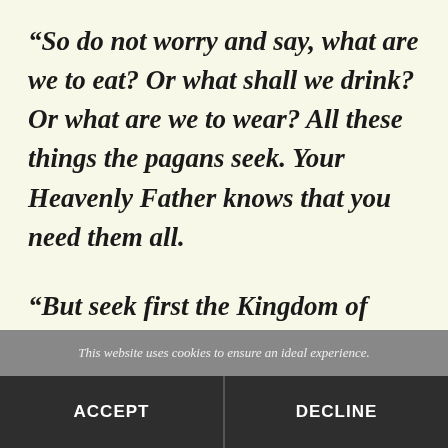“So do not worry and say, what are we to eat? Or what shall we drink? Or what are we to wear? All these things the pagans seek. Your Heavenly Father knows that you need them all.
“But seek first the Kingdom of God and His righteousness, and all these things will be
This website uses cookies to ensure an ideal experience.
ACCEPT
DECLINE